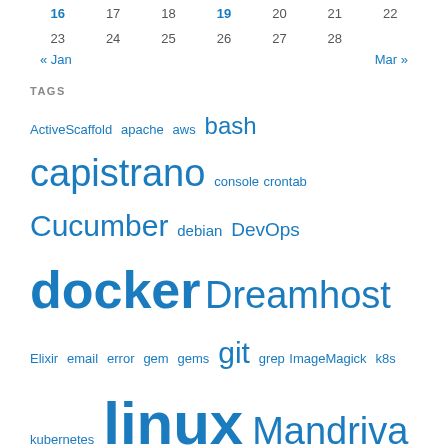| 16 | 17 | 18 | 19 | 20 | 21 | 22 |
| 23 | 24 | 25 | 26 | 27 | 28 |  |
« Jan    Mar »
TAGS
ActiveScaffold apache aws bash capistrano console crontab Cucumber debian DevOps docker Dreamhost Elixir email error gem gems git grep ImageMagick k8s kubernetes linux Mandriva migrations MySQL NGINX Passenger pdf Phoenix postgresql production puppet Rails Rmagick RSpec ruby ruby on rails rvm security ssh Terraform testing ubuntu vagrant
ARCHIVES